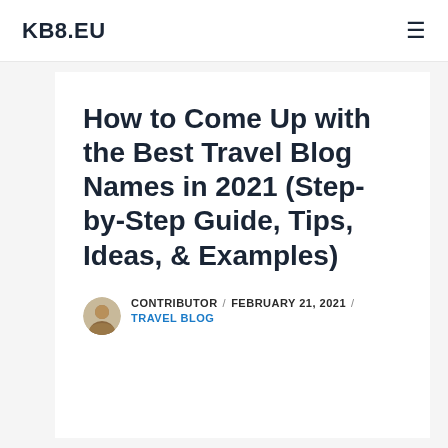KB8.EU
How to Come Up with the Best Travel Blog Names in 2021 (Step-by-Step Guide, Tips, Ideas, & Examples)
CONTRIBUTOR / FEBRUARY 21, 2021 / TRAVEL BLOG